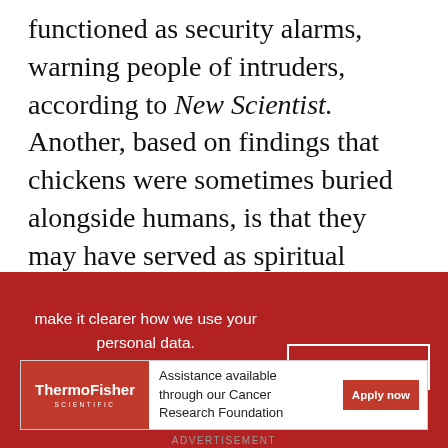functioned as security alarms, warning people of intruders, according to New Scientist. Another, based on findings that chickens were sometimes buried alongside humans, is that they may have served as spiritual guides to usher people into the afterlife. “There were some associations with deities,” Best tells New Scientist.
Regardless, once the chickens arrived in each new place, it seems to have taken only a few centuries for them to become a major source of protein today. Chickens are the world’s most popular meat, reports al
make it clearer how we use your personal data.
Please read our Cookie Policy to learn how we use cookies to provide you
I UNDERSTAND
[Figure (infographic): ThermoFisher Scientific advertisement banner: Assistance available through our Cancer Research Foundation. Apply now button.]
ADVERTISEMENT